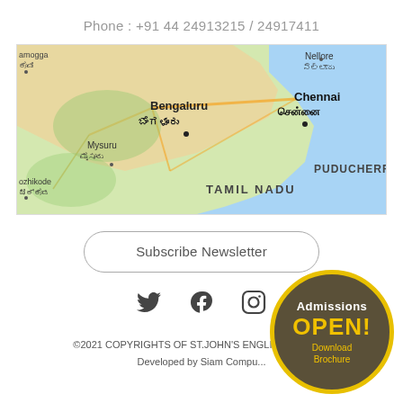Phone : +91 44 24913215 / 24917411
[Figure (map): Google Maps screenshot showing South India region including Bengaluru, Chennai, Mysuru, Nellore, Puducherry, Tamil Nadu area]
Subscribe Newsletter
[Figure (other): Social media icons: Twitter, Facebook, Instagram]
©2021 COPYRIGHTS OF ST.JOHN'S ENGLISH COLLEGE
Developed by Siam Compu...
[Figure (infographic): Admissions OPEN! circular badge with Download Brochure text, dark background with yellow border]